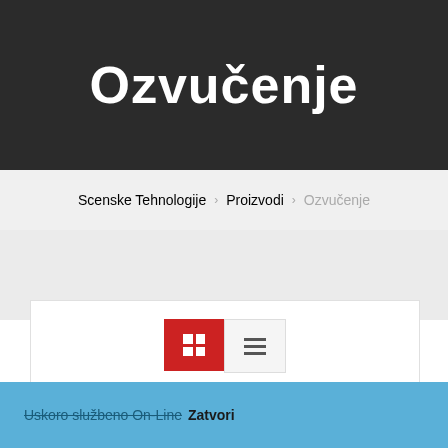Ozvučenje
Scenske Tehnologije > Proizvodi > Ozvučenje
[Figure (screenshot): Product listing controls with grid/list view toggle, sort dropdown showing 'Zadano sortiranje', and VIEW: 12 / 24 / ALL: options]
Uskoro službeno On-Line Zatvori